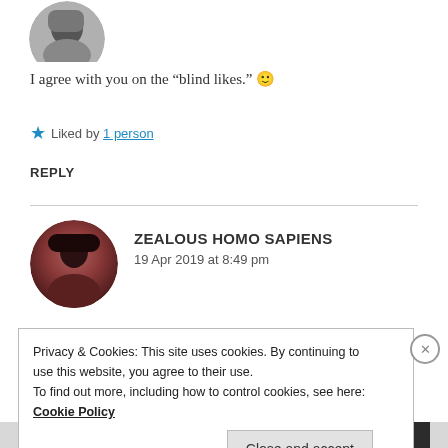[Figure (photo): Partial circular avatar photo of a woman, cropped at top of page]
I agree with you on the “blind likes.” 🙂
★ Liked by 1 person
REPLY
[Figure (photo): Circular avatar photo of a person with dark hair and reddish-brown tones]
ZEALOUS HOMO SAPIENS
19 Apr 2019 at 8:49 pm
Privacy & Cookies: This site uses cookies. By continuing to use this website, you agree to their use.
To find out more, including how to control cookies, see here: Cookie Policy
Close and accept